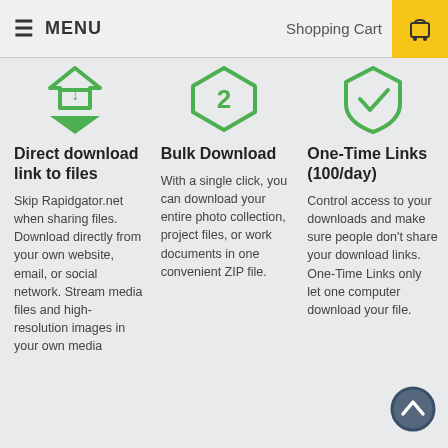MENU   Shopping Cart
[Figure (illustration): Three green hexagonal/shield icons with symbols (download arrow, number 2, checkmark) for three feature columns]
Direct download link to files
Skip Rapidgator.net when sharing files. Download directly from your own website, email, or social network. Stream media files and high-resolution images in your own media
Bulk Download
With a single click, you can download your entire photo collection, project files, or work documents in one convenient ZIP file.
One-Time Links (100/day)
Control access to your downloads and make sure people don't share your download links. One-Time Links only let one computer download your file.